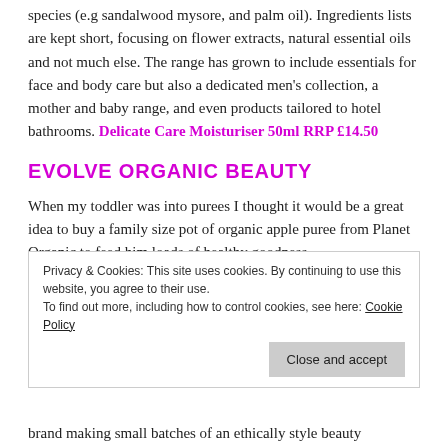species (e.g sandalwood mysore, and palm oil). Ingredients lists are kept short, focusing on flower extracts, natural essential oils and not much else. The range has grown to include essentials for face and body care but also a dedicated men's collection, a mother and baby range, and even products tailored to hotel bathrooms. Delicate Care Moisturiser 50ml RRP £14.50
EVOLVE ORGANIC BEAUTY
When my toddler was into purees I thought it would be a great idea to buy a family size pot of organic apple puree from Planet Organic to feed him loads of healthy goodness.
Privacy & Cookies: This site uses cookies. By continuing to use this website, you agree to their use.
To find out more, including how to control cookies, see here: Cookie Policy
brand making small batches of an ethically style beauty